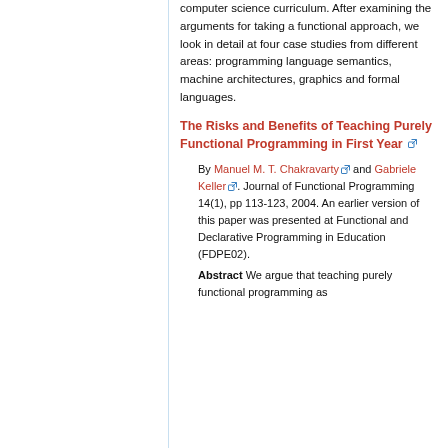computer science curriculum. After examining the arguments for taking a functional approach, we look in detail at four case studies from different areas: programming language semantics, machine architectures, graphics and formal languages.
The Risks and Benefits of Teaching Purely Functional Programming in First Year
By Manuel M. T. Chakravarty and Gabriele Keller. Journal of Functional Programming 14(1), pp 113-123, 2004. An earlier version of this paper was presented at Functional and Declarative Programming in Education (FDPE02).
Abstract We argue that teaching purely functional programming as